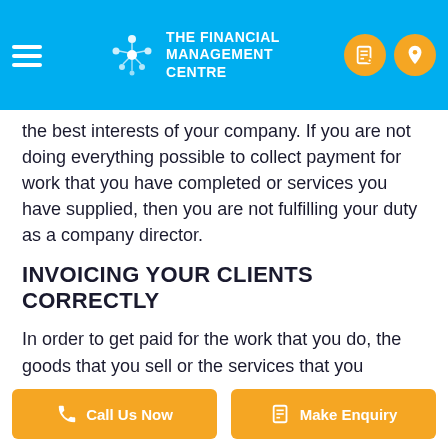THE FINANCIAL MANAGEMENT CENTRE
the best interests of your company. If you are not doing everything possible to collect payment for work that you have completed or services you have supplied, then you are not fulfilling your duty as a company director.
INVOICING YOUR CLIENTS CORRECTLY
In order to get paid for the work that you do, the goods that you sell or the services that you provide, you need to invoice your clients correctly. To ensure that you get paid on time, you must make time for sending your invoices and do not neglect this important side of your business. Your invoices need to look professional and
Call Us Now | Make Enquiry